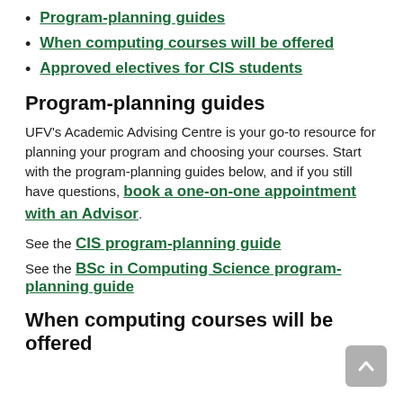Program-planning guides
When computing courses will be offered
Approved electives for CIS students
Program-planning guides
UFV's Academic Advising Centre is your go-to resource for planning your program and choosing your courses. Start with the program-planning guides below, and if you still have questions, book a one-on-one appointment with an Advisor.
See the CIS program-planning guide
See the BSc in Computing Science program-planning guide
When computing courses will be offered